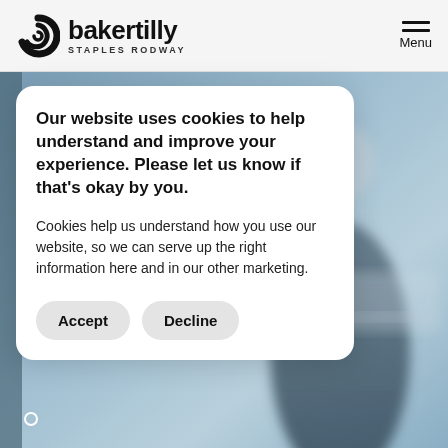[Figure (logo): Baker Tilly Staples Rodway logo with circular swirl icon and text 'bakertilly STAPLES RODWAY']
Menu
[Figure (photo): Blurred background photo of a person in an office or meeting room setting]
Our website uses cookies to help understand and improve your experience. Please let us know if that's okay by you.
Cookies help us understand how you use our website, so we can serve up the right information here and in our other marketing.
Accept
Decline